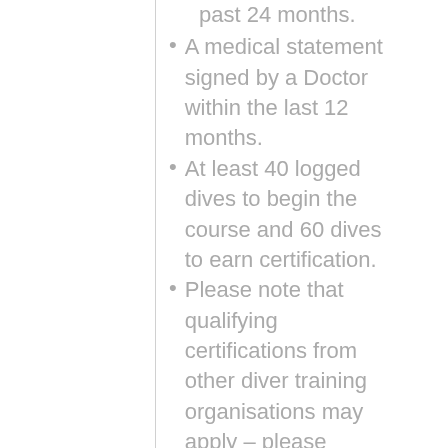past 24 months.
A medical statement signed by a Doctor within the last 12 months.
At least 40 logged dives to begin the course and 60 dives to earn certification.
Please note that qualifying certifications from other diver training organisations may apply – please enquire before